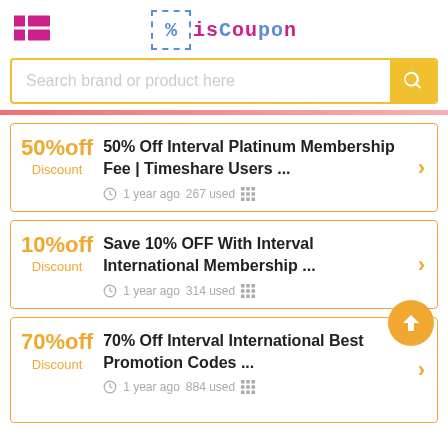isCoupon
Search brand or product here
50%off Discount | 50% Off Interval Platinum Membership Fee | Timeshare Users ... | 1 year ago 267 used
10%off Discount | Save 10% OFF With Interval International Membership ... | 1 year ago 314 used
70%off Discount | 70% Off Interval International Best Promotion Codes ...